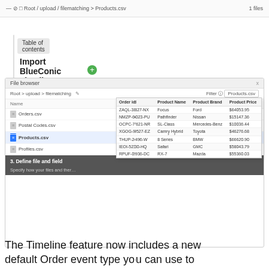Root / upload / filematching > Products.csv   1 files
Table of contents
Import BlueConic Timeline events via S… +
[Figure (screenshot): File browser UI showing Root > upload > filematching with filter Products.csv. Files listed: Orders.csv (5 columns, 2 weeks ago), Postal Codes.csv (6 columns, 1 month ago), Products.csv selected (4 columns, 2 weeks ago), Profiles.csv. A popup table shows columns: Order id, Product Name, Product Brand, Product Price with sample data rows. Bottom section shows step 3: Define file and field.]
| Order id | Product Name | Product Brand | Product Price |
| --- | --- | --- | --- |
| ZAQL-3827-NX | Focus | Ford | $64053.95 |
| NMZP-6023-PU | Pathfinder | Nissan | $15147.36 |
| OCPC-7621-NR | SL-Class | Mercedes-Benz | $10036.44 |
| XGOG-9527-EZ | Camry Hybrid | Toyota | $46276.68 |
| THUP-2496-W | 8 Series | BMW | $66620.90 |
| IEOI-5230-HQ | Safari | GMC | $58043.79 |
| RPUF-0936-DC | RX-7 | Mazda | $55360.03 |
The Timeline feature now includes a new default Order event type you can use to